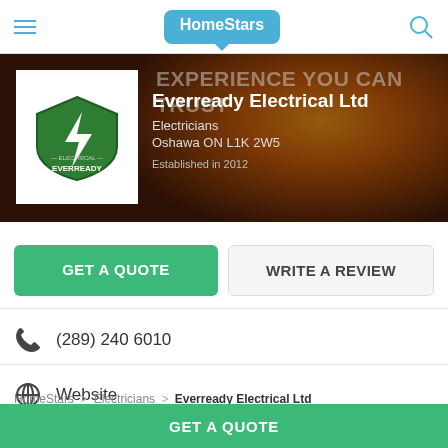HomeStars
[Figure (screenshot): Everready Electrical Ltd company banner with logo on dark background, showing company name, category Electricians, location Oshawa ON L1K 2W5, Established in 2012, and background text EXPERIENCE YOU CAN TRUST]
GET A QUOTE
WRITE A REVIEW
(289) 240 6010
Website
HomeStars > Electricians > Everready Electrical Ltd
GET A QUOTE